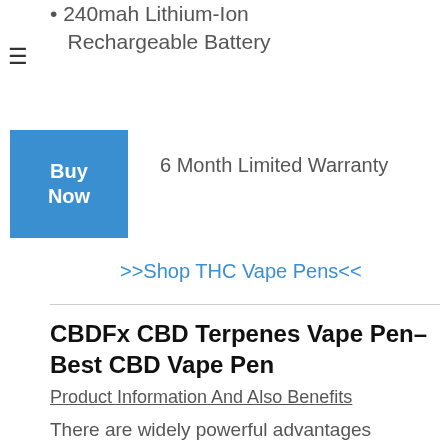240mah Lithium-Ion Rechargeable Battery
6 Month Limited Warranty
>>Shop THC Vape Pens<<
CBDFx CBD Terpenes Vape Pen– Best CBD Vape Pen
Product Information And Also Benefits
There are widely powerful advantages associated with the medical use of particular